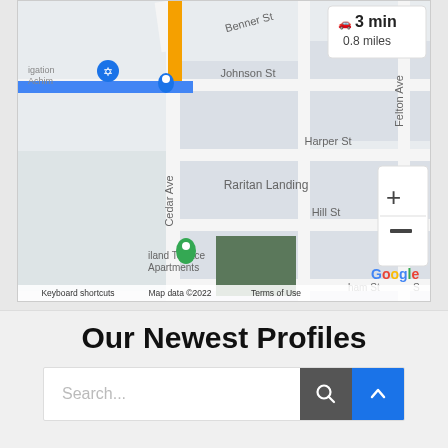[Figure (map): Google Maps screenshot showing directions with a route highlighted in orange along a road, a blue horizontal road segment, street names including Benner St, Johnson St, Harper St, Cedar Ave, Felton Ave, Hill St, Raritan Landing, Highland Terrace Apartments. Shows 3 min / 0.8 miles travel info, zoom controls (+/-), Google logo, and footer text: Keyboard shortcuts | Map data ©2022 | Terms of Use]
Our Newest Profiles